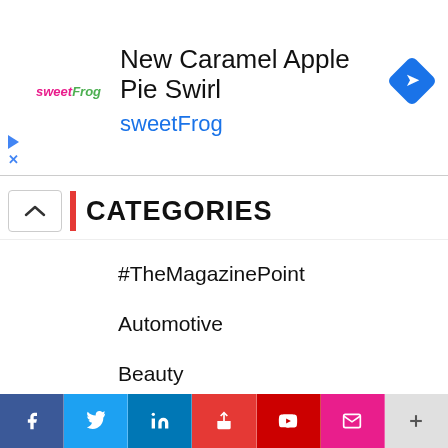[Figure (screenshot): Advertisement banner for sweetFrog 'New Caramel Apple Pie Swirl' with sweetFrog logo, navigation icon, play and close icons]
CATEGORIES
#TheMagazinePoint
Automotive
Beauty
Beauty
Business
Canada
[Figure (screenshot): Bottom navigation bar with social media icons: Facebook, Twitter, LinkedIn, share, YouTube, email/envelope, plus]